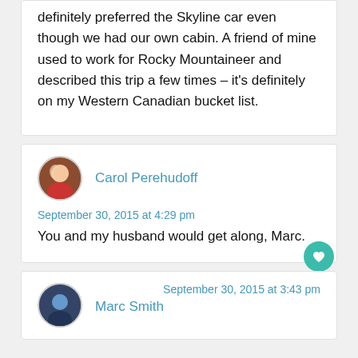definitely preferred the Skyline car even though we had our own cabin. A friend of mine used to work for Rocky Mountaineer and described this trip a few times – it's definitely on my Western Canadian bucket list.
Carol Perehudoff
September 30, 2015 at 4:29 pm
You and my husband would get along, Marc.
364
Marc Smith
September 30, 2015 at 3:43 pm